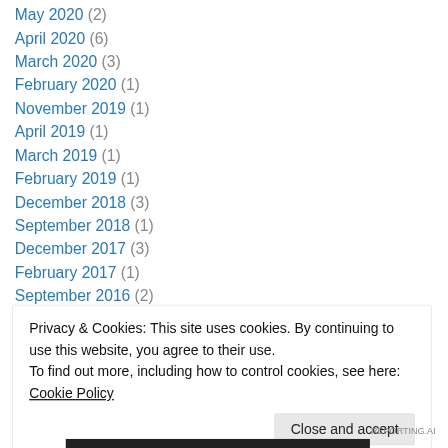May 2020 (2)
April 2020 (6)
March 2020 (3)
February 2020 (1)
November 2019 (1)
April 2019 (1)
March 2019 (1)
February 2019 (1)
December 2018 (3)
September 2018 (1)
December 2017 (3)
February 2017 (1)
September 2016 (2)
Privacy & Cookies: This site uses cookies. By continuing to use this website, you agree to their use.
To find out more, including how to control cookies, see here: Cookie Policy
Close and accept